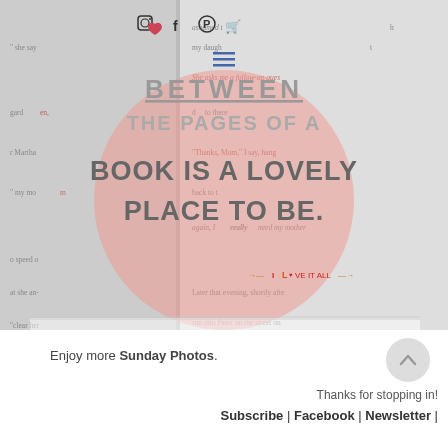[Figure (illustration): A motivational quote overlay on a book page background. A large pink circle sits centered over open book pages. Social media icons (Instagram, heart/favorite, Facebook, Pinterest, shopping cart) appear at the top. The overlaid text reads: 'BETWEEN THE PAGES OF A BOOK IS A LOVELY PLACE TO BE.' with a 'I LOVE IT ALL' watermark arrow logo at the bottom right of the image.]
Enjoy more Sunday Photos.
Thanks for stopping in!
Subscribe | Facebook | Newsletter |